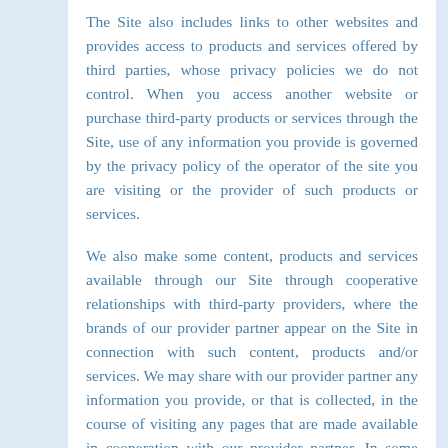The Site also includes links to other websites and provides access to products and services offered by third parties, whose privacy policies we do not control. When you access another website or purchase third-party products or services through the Site, use of any information you provide is governed by the privacy policy of the operator of the site you are visiting or the provider of such products or services.
We also make some content, products and services available through our Site through cooperative relationships with third-party providers, where the brands of our provider partner appear on the Site in connection with such content, products and/or services. We may share with our provider partner any information you provide, or that is collected, in the course of visiting any pages that are made available in cooperation with our provider partner. In some cases, the provider partner may collect information from you directly, in which cases the privacy policy of our